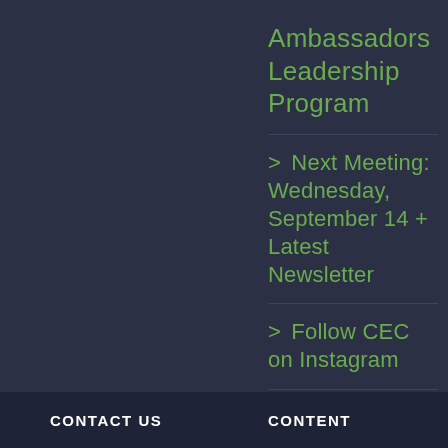Ambassadors Leadership Program
> Next Meeting: Wednesday, September 14 + Latest Newsletter
> Follow CEC on Instagram
CONTACT US   CONTENT